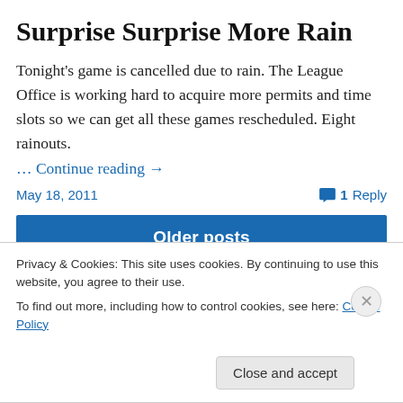Surprise Surprise More Rain
Tonight's game is cancelled due to rain. The League Office is working hard to acquire more permits and time slots so we can get all these games rescheduled. Eight rainouts.
… Continue reading →
May 18, 2011
1 Reply
Older posts
Privacy & Cookies: This site uses cookies. By continuing to use this website, you agree to their use.
To find out more, including how to control cookies, see here: Cookie Policy
Close and accept